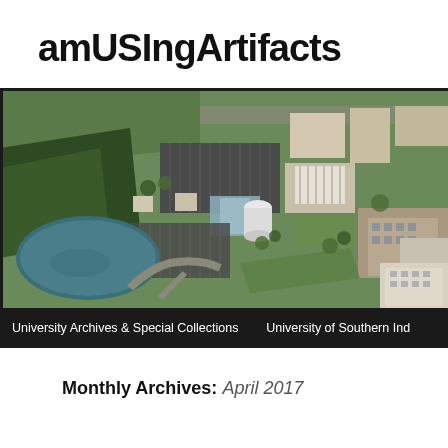amUSIngArtifacts
[Figure (photo): Aerial photograph of the University of Southern Indiana campus, showing parking lots, buildings, a pond, green lawns, and roadways. Below the photo is a dark banner bar with text: University Archives & Special Collections   University of Southern Ind]
Monthly Archives: April 2017